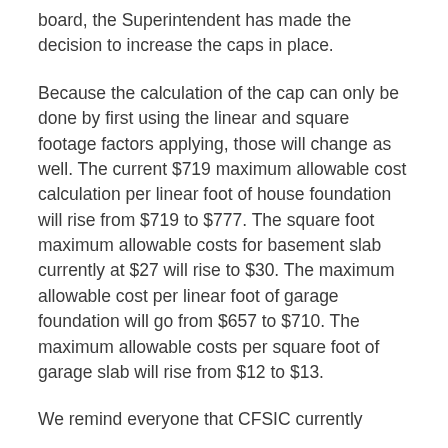board, the Superintendent has made the decision to increase the caps in place.
Because the calculation of the cap can only be done by first using the linear and square footage factors applying, those will change as well. The current $719 maximum allowable cost calculation per linear foot of house foundation will rise from $719 to $777. The square foot maximum allowable costs for basement slab currently at $27 will rise to $30. The maximum allowable cost per linear foot of garage foundation will go from $657 to $710. The maximum allowable costs per square foot of garage slab will rise from $12 to $13.
We remind everyone that CFSIC currently